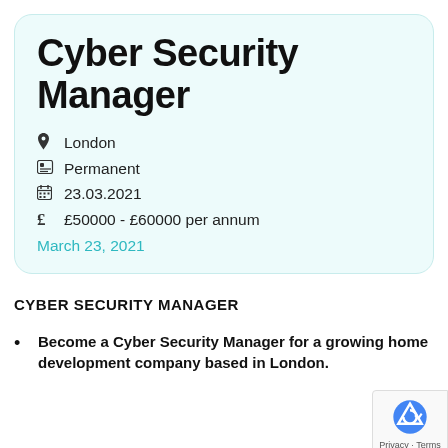Cyber Security Manager
📍 London
💼 Permanent
📅 23.03.2021
£ £50000 - £60000 per annum
March 23, 2021
CYBER SECURITY MANAGER
Become a Cyber Security Manager for a growing home development company based in London.